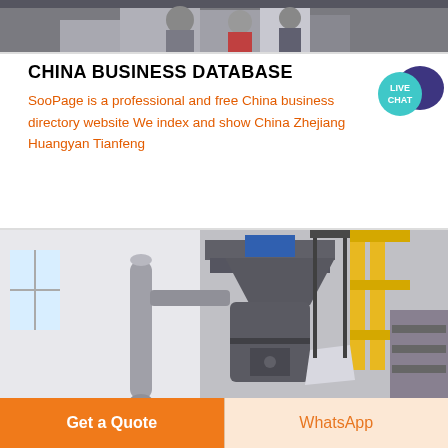[Figure (photo): Top strip showing industrial/factory scene with people in background]
CHINA BUSINESS DATABASE
SooPage is a professional and free China business directory website We index and show China Zhejiang Huangyan Tianfeng
[Figure (photo): Industrial grinding/milling machine equipment in a factory setting with metal ductwork, yellow railing, and storage shelving]
Get a Quote
WhatsApp